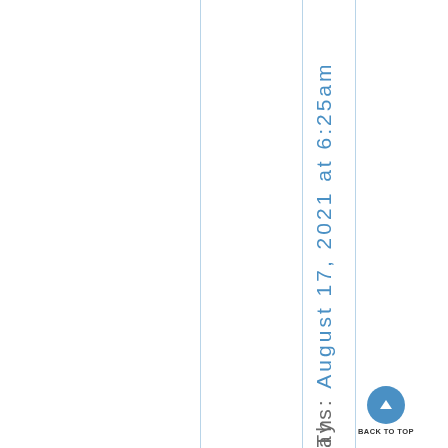ays: August 17, 2021 at 6:25am
Th
BACK TO TOP